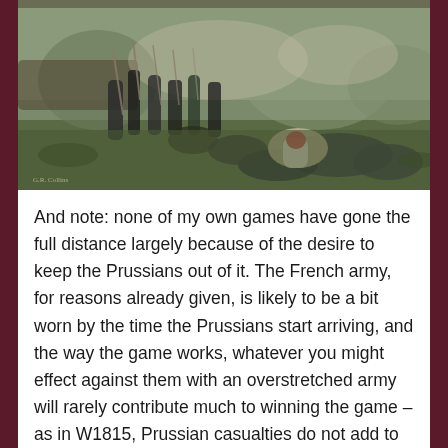[Figure (photo): A painting or illustration depicting a Napoleonic-era battle scene with soldiers fighting, some fallen on the ground, weapons clashing in a chaotic field engagement.]
And note: none of my own games have gone the full distance largely because of the desire to keep the Prussians out of it. The French army, for reasons already given, is likely to be a bit worn by the time the Prussians start arriving, and the way the game works, whatever you might effect against them with an overstretched army will rarely contribute much to winning the game – as in W1815, Prussian casualties do not add to the victory by loss totals, and if you seek to set up a really decent flank defence, it will take units, and